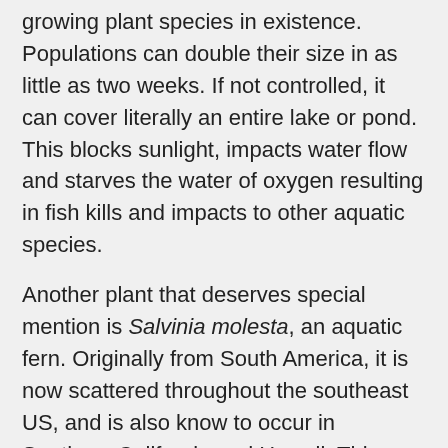growing plant species in existence. Populations can double their size in as little as two weeks. If not controlled, it can cover literally an entire lake or pond. This blocks sunlight, impacts water flow and starves the water of oxygen resulting in fish kills and impacts to other aquatic species.
Another plant that deserves special mention is Salvinia molesta, an aquatic fern. Originally from South America, it is now scattered throughout the southeast US, and is also know to occur in Southern California and Hawaii. This plant spreads at an alarming rate; it is able to double its numbers every 2.2 days under ideal conditions. If you consider this doubling rate and add just one plant to a water body, you will have over 8,000 plants within the first month. Equally troublesome is the fact that this fern reproduces as portions break off. This means that if a boat travels through a mat of these